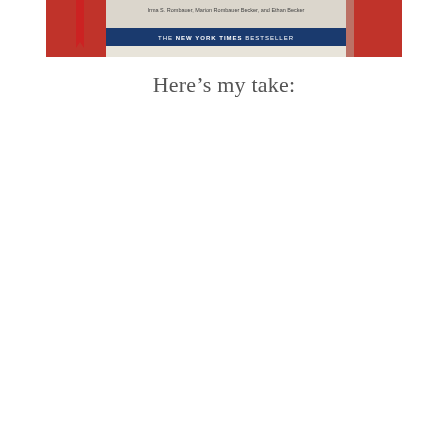[Figure (photo): Photo of a book spine/cover on a red surface. Text visible: author names including 'Irma S. Rombauer, Marion Rombauer Becker, and Ethan Becker', and a blue banner reading 'THE NEW YORK TIMES BESTSELLER'. A red bookmark ribbon is partially visible.]
Here's my take: